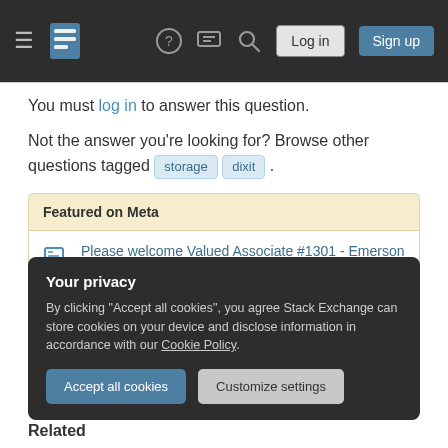Stack Exchange navigation bar with hamburger menu, logo, help, chat, search icons, Log in and Sign up buttons
You must log in to answer this question.
Not the answer you're looking for? Browse other questions tagged storage dixit .
Featured on Meta
Please welcome Valued Associate #1301 - Emerson
Planned maintenance scheduled for Tuesday, August 23, 2022 at 00:00-03:00 AM...
Your privacy
By clicking "Accept all cookies", you agree Stack Exchange can store cookies on your device and disclose information in accordance with our Cookie Policy.
Accept all cookies   Customize settings
Related